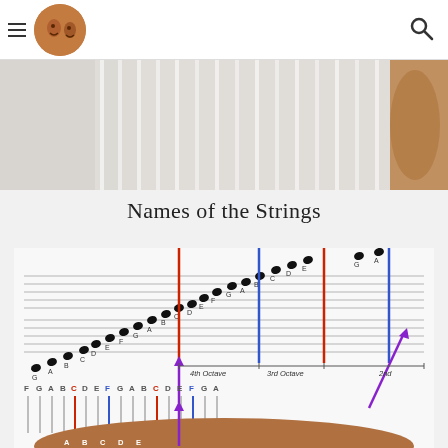Navigation and logo header
[Figure (photo): Top portion of a harp showing strings from above, white and cream colored strings visible against light background]
Names of the Strings
[Figure (infographic): Music staff diagram showing harp string names across octaves. Notes labeled G A B C D E F across multiple octaves. Colored vertical lines (red, blue, purple) indicate specific strings. Labels show 4th Octave, 3rd Octave, 2nd octave markings. Bottom shows harp tuning pegs with letters A B C D E visible. Purple arrows point to specific octave positions.]